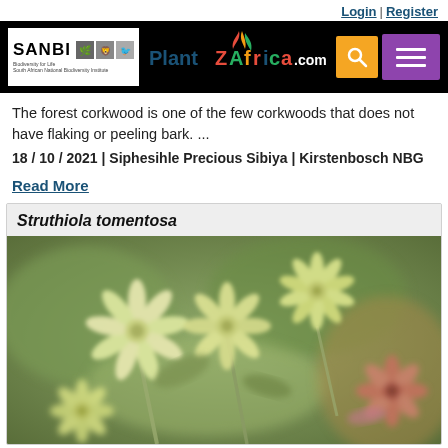Login | Register
[Figure (screenshot): PlantZAfrica.com website navigation header with SANBI logo, PlantZAfrica colored text logo, orange search button, and purple hamburger menu on black background]
The forest corkwood is one of the few corkwoods that does not have flaking or peeling bark. ...
18 / 10 / 2021 | Siphesihle Precious Sibiya | Kirstenbosch NBG
Read More
Struthiola tomentosa
[Figure (photo): Close-up photograph of Struthiola tomentosa flowers - small pale yellow star-shaped flowers with multiple narrow petals, some with pink-red coloring, on stems with green-grey blurred background]